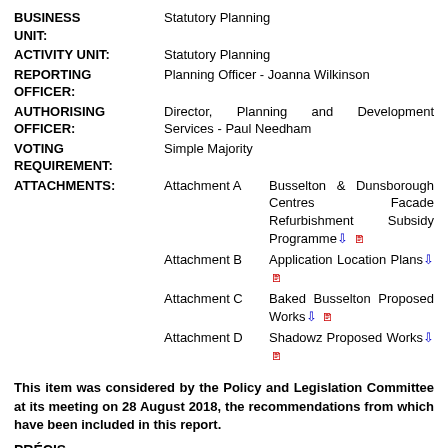| BUSINESS UNIT: | Statutory Planning |
| ACTIVITY UNIT: | Statutory Planning |
| REPORTING OFFICER: | Planning Officer  - Joanna  Wilkinson |
| AUTHORISING OFFICER: | Director,  Planning  and  Development Services - Paul Needham |
| VOTING REQUIREMENT: | Simple Majority |
| ATTACHMENTS: | Attachment A   Busselton & Dunsborough Centres Facade Refurbishment Subsidy Programme [icon][icon]
Attachment B    Application Location Plans [icon][icon]
Attachment C    Baked Busselton Proposed Works [icon][icon]
Attachment D   Shadowz Proposed Works [icon][icon] |
This item was considered by the Policy and Legislation Committee at its meeting on 28 August 2018, the recommendations from which have been included in this report.
PRÉCIS
The Council is asked to consider two applications received for the